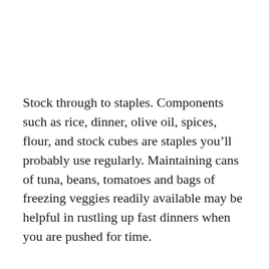Stock through to staples. Components such as rice, dinner, olive oil, spices, flour, and stock cubes are staples you’ll probably use regularly. Maintaining cans of tuna, beans, tomatoes and bags of freezing veggies readily available may be helpful in rustling up fast dinners when you are pushed for time.
That’s how make Slow Roasted Strawberries Grilled Cheese Sandwich. Give your self some